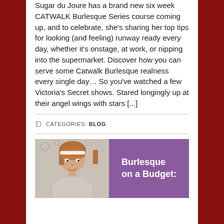Sugar du Joure has a brand new six week CATWALK Burlesque Series course coming up, and to celebrate, she's sharing her top tips for looking (and feeling) runway ready every day, whether it's onstage, at work, or nipping into the supermarket. Discover how you can serve some Catwalk Burlesque realness every single day… So you've watched a few Victoria's Secret shows. Stared longingly up at their angel wings with stars [...]
CATEGORIES: BLOG
[Figure (illustration): Promotional image for 'Burlesque on a Budget' showing a young woman with bangs and a white headband on the left side against a decorative background, and purple right side with white text reading 'Burlesque on a Budget:']